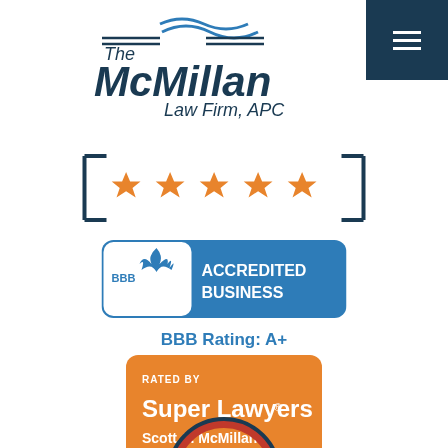[Figure (logo): The McMillan Law Firm, APC logo with blue and navy text and wave graphic]
[Figure (other): Five orange/gold star rating widget inside a blue bracket frame]
[Figure (other): BBB Accredited Business blue badge logo]
BBB Rating: A+
[Figure (other): Super Lawyers orange badge - Rated by Super Lawyers, Scott A. McMillan, SuperLawyers.com]
[Figure (other): Partial circular award badge visible at bottom of page]
[Figure (other): Navigation hamburger menu icon on dark navy background top right]